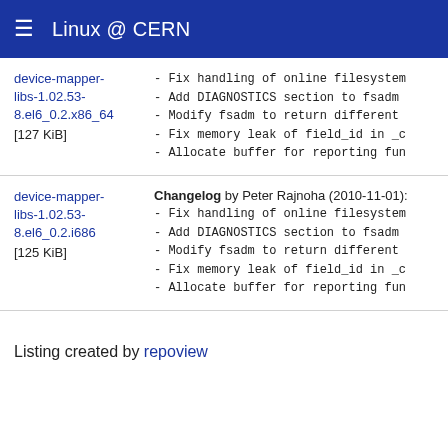Linux @ CERN
| Package | Changelog |
| --- | --- |
| device-mapper-libs-1.02.53-8.el6_0.2.x86_64 [127 KiB] | - Fix handling of online filesystem
- Add DIAGNOSTICS section to fsadm
- Modify fsadm to return different
- Fix memory leak of field_id in _c
- Allocate buffer for reporting fun |
| device-mapper-libs-1.02.53-8.el6_0.2.i686 [125 KiB] | Changelog by Peter Rajnoha (2010-11-01):
- Fix handling of online filesystem
- Add DIAGNOSTICS section to fsadm
- Modify fsadm to return different
- Fix memory leak of field_id in _c
- Allocate buffer for reporting fun |
Listing created by repoview